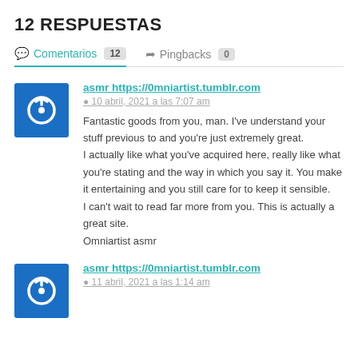12 RESPUESTAS
Comentarios 12   Pingbacks 0
asmr https://0mniartist.tumblr.com
10 abril, 2021 a las 7:07 am
Fantastic goods from you, man. I've understand your stuff previous to and you're just extremely great. I actually like what you've acquired here, really like what you're stating and the way in which you say it. You make it entertaining and you still care for to keep it sensible. I can't wait to read far more from you. This is actually a great site. Omniartist asmr
asmr https://0mniartist.tumblr.com
11 abril, 2021 a las 1:14 am